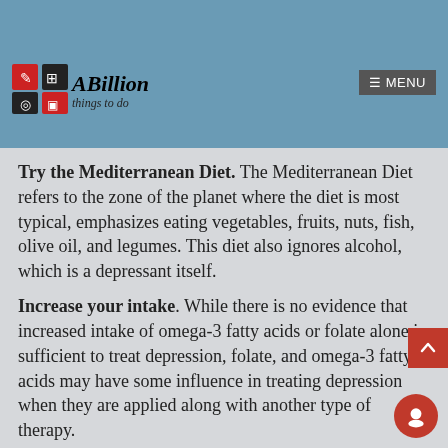Eat more foods that can reduce depression. A diet that leads to fewer symptoms of depression includes vegetables, fruits, and fish. Increasing your intake of these meals will give your body cells more vitamins and nutrients that can make your body healthy.
Try the Mediterranean Diet. The Mediterranean Diet refers to the zone of the planet where the diet is most typical, emphasizes eating vegetables, fruits, nuts, fish, olive oil, and legumes. This diet also ignores alcohol, which is a depressant itself.
Increase your intake. While there is no evidence that increased intake of omega-3 fatty acids or folate alone is sufficient to treat depression, folate, and omega-3 fatty acids may have some influence in treating depression when they are applied along with another type of therapy.
Monitor how your diet affects your mood. Watch your mood order a couple of hours